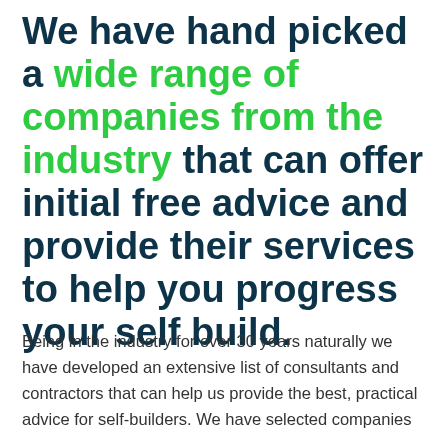We have hand picked a wide range of companies from the industry that can offer initial free advice and provide their services to help you progress your self build.
Being in the industry for over 30 years naturally we have developed an extensive list of consultants and contractors that can help us provide the best, practical advice for self-builders. We have selected companies